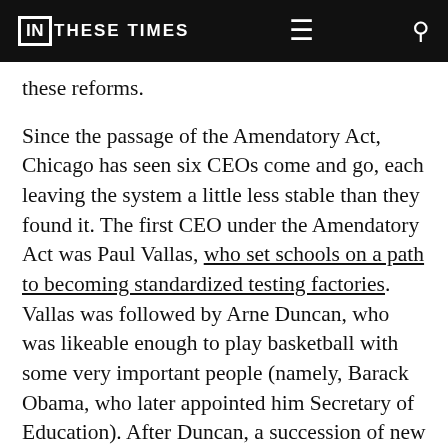IN THESE TIMES
these reforms.
Since the passage of the Amendatory Act, Chicago has seen six CEOs come and go, each leaving the system a little less stable than they found it. The first CEO under the Amendatory Act was Paul Vallas, who set schools on a path to becoming standardized testing factories. Vallas was followed by Arne Duncan, who was likeable enough to play basketball with some very important people (namely, Barack Obama, who later appointed him Secretary of Education). After Duncan, a succession of new CEOs shuffled through, closing public schools and opening charters at a pace on par with much of the rest of the country.